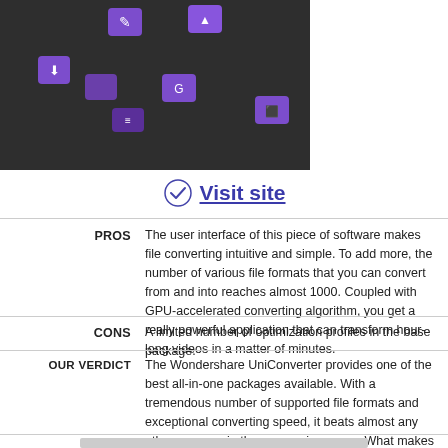[Figure (screenshot): Screenshot of Wondershare UniConverter software interface showing purple UI icons on dark background]
✓ Visit site
PROS   The user interface of this piece of software makes file converting intuitive and simple. To add more, the number of various file formats that you can convert from and into reaches almost 1000. Coupled with GPU-accelerated converting algorithm, you get a really powerful application that can transform hour-long videos in a matter of minutes.
CONS   A limited number of optimization profiles in the base package.
OUR VERDICT   The Wondershare UniConverter provides one of the best all-in-one packages available. With a tremendous number of supported file formats and exceptional converting speed, it beats almost any other program in the same price range. What makes it truly special is its refined UI and ease of use. So, if you're looking to get into video editing, this might be the time.
DETAILED PARAMETERS